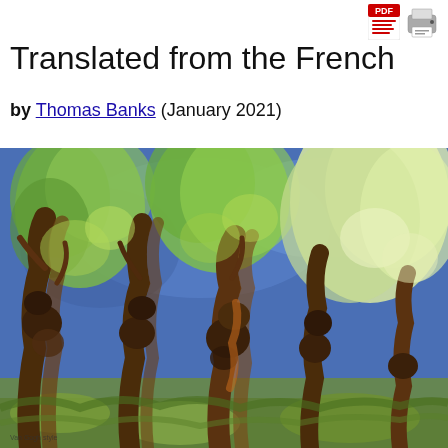Translated from the French
by Thomas Banks (January 2021)
[Figure (illustration): Post-impressionist painting of pollarded willow trees with twisted dark brown trunks and lush green foliage against a vivid blue sky background, painted in an expressive style reminiscent of Van Gogh.]